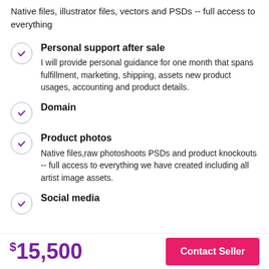Native files, illustrator files, vectors and PSDs -- full access to everything
Personal support after sale — I will provide personal guidance for one month that spans fulfillment, marketing, shipping, assets new product usages, accounting and product details.
Domain
Product photos — Native files,raw photoshoots PSDs and product knockouts -- full access to everything we have created including all artist image assets.
Social media
$15,500
Contact Seller